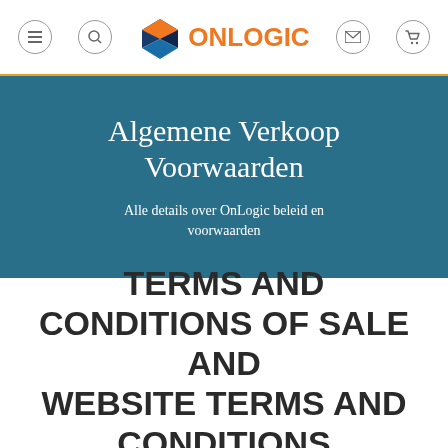OnLogic navigation header with menu, search, logo, email, and cart icons
Algemene Verkoop Voorwaarden
Alle details over OnLogic beleid en voorwaarden
TERMS AND CONDITIONS OF SALE AND WEBSITE TERMS AND CONDITIONS